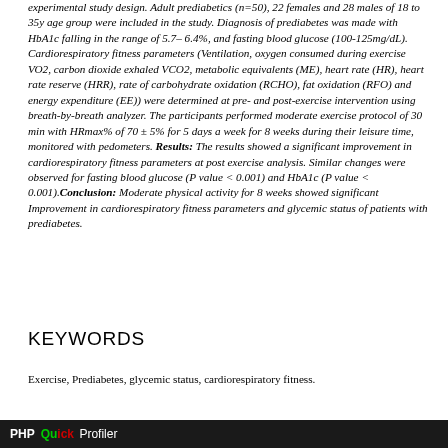experimental study design. Adult prediabetics (n=50), 22 females and 28 males of 18 to 35y age group were included in the study. Diagnosis of prediabetes was made with HbA1c falling in the range of 5.7– 6.4%, and fasting blood glucose (100-125mg/dL). Cardiorespiratory fitness parameters (Ventilation, oxygen consumed during exercise VO2, carbon dioxide exhaled VCO2, metabolic equivalents (ME), heart rate (HR), heart rate reserve (HRR), rate of carbohydrate oxidation (RCHO), fat oxidation (RFO) and energy expenditure (EE)) were determined at pre- and post-exercise intervention using breath-by-breath analyzer. The participants performed moderate exercise protocol of 30 min with HRmax% of 70 ± 5% for 5 days a week for 8 weeks during their leisure time, monitored with pedometers. Results: The results showed a significant improvement in cardiorespiratory fitness parameters at post exercise analysis.  Similar changes were observed for fasting blood glucose (P value < 0.001)  and HbA1c (P value < 0.001).Conclusion: Moderate physical activity for 8 weeks showed significant Improvement in cardiorespiratory fitness parameters and glycemic status of patients with prediabetes.
KEYWORDS
Exercise, Prediabetes, glycemic status, cardiorespiratory fitness.
PHP Quick Profiler